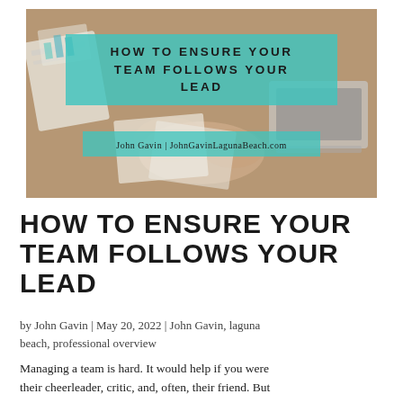[Figure (photo): Photo of hands at a wooden desk with papers, charts, and a laptop in the background. Overlaid with a teal semi-transparent banner reading 'HOW TO ENSURE YOUR TEAM FOLLOWS YOUR LEAD' and a smaller teal band reading 'John Gavin | JohnGavinLagunaBeach.com']
HOW TO ENSURE YOUR TEAM FOLLOWS YOUR LEAD
by John Gavin | May 20, 2022 | John Gavin, laguna beach, professional overview
Managing a team is hard. It would help if you were their cheerleader, critic, and, often, their friend. But